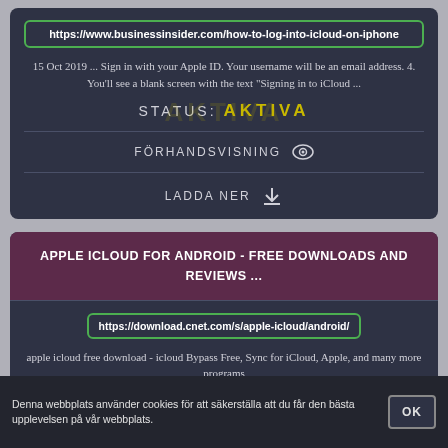https://www.businessinsider.com/how-to-log-into-icloud-on-iphone
15 Oct 2019 ... Sign in with your Apple ID. Your username will be an email address. 4. You'll see a blank screen with the text "Signing in to iCloud ...
STATUS: AKTIVA
FÖRHANDSVISNING 👁
LADDA NER ⬇
APPLE ICLOUD FOR ANDROID - FREE DOWNLOADS AND REVIEWS ...
https://download.cnet.com/s/apple-icloud/android/
apple icloud free download - icloud Bypass Free, Sync for iCloud, Apple, and many more programs
Denna webbplats använder cookies för att säkerställa att du får den bästa upplevelsen på vår webbplats.
OK